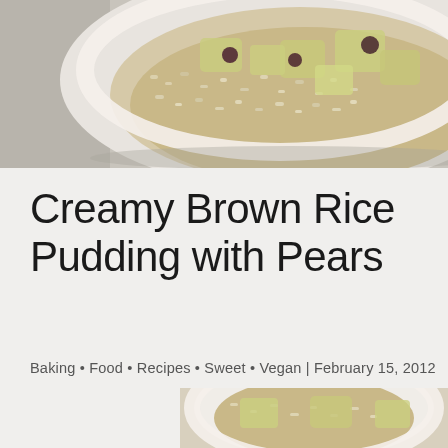[Figure (photo): Close-up of creamy brown rice pudding with pear chunks in a white bowl, viewed from above]
Creamy Brown Rice Pudding with Pears
Baking • Food • Recipes • Sweet • Vegan | February 15, 2012
[Figure (photo): White bowl of creamy brown rice pudding with pears, viewed from above on a textured mat]